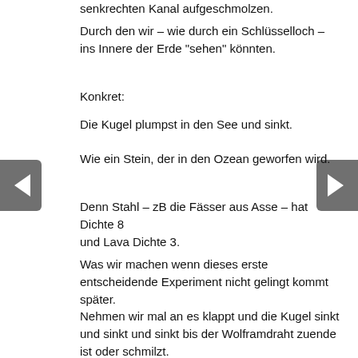senkrechten Kanal aufgeschmolzen.
Durch den wir – wie durch ein Schlüsselloch –
ins Innere der Erde "sehen" könnten.
Konkret:
Die Kugel plumpst in den See und sinkt.
Wie ein Stein, der in den Ozean geworfen wird.
Denn Stahl – zB die Fässer aus Asse – hat Dichte 8
und Lava Dichte 3.
Was wir machen wenn dieses erste entscheidende Experiment nicht gelingt kommt später.
Nehmen wir mal an es klappt und die Kugel sinkt und sinkt und sinkt bis der Wolframdraht zuende ist oder schmilzt.
In welcher Tiefe ?